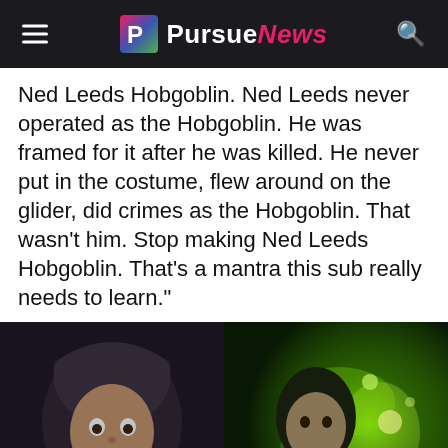PursueNews
Ned Leeds Hobgoblin. Ned Leeds never operated as the Hobgoblin. He was framed for it after he was killed. He never put in the costume, flew around on the glider, did crimes as the Hobgoblin. That wasn’t him. Stop making Ned Leeds Hobgoblin. That’s a mantra this sub really needs to learn.”
[Figure (photo): Two side-by-side film stills: left shows a man in a dark hoodie looking surprised, right shows a figure with green glowing smoke/energy around them]
We use cookies to ensure that we give you the best experience on our website. If you continue to use this site we will assume that you are happy with it.
Ok